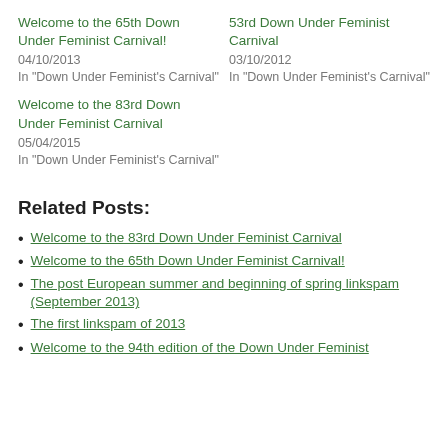Welcome to the 65th Down Under Feminist Carnival!
04/10/2013
In "Down Under Feminist's Carnival"
53rd Down Under Feminist Carnival
03/10/2012
In "Down Under Feminist's Carnival"
Welcome to the 83rd Down Under Feminist Carnival
05/04/2015
In "Down Under Feminist's Carnival"
Related Posts:
Welcome to the 83rd Down Under Feminist Carnival
Welcome to the 65th Down Under Feminist Carnival!
The post European summer and beginning of spring linkspam (September 2013)
The first linkspam of 2013
Welcome to the 94th edition of the Down Under Feminist